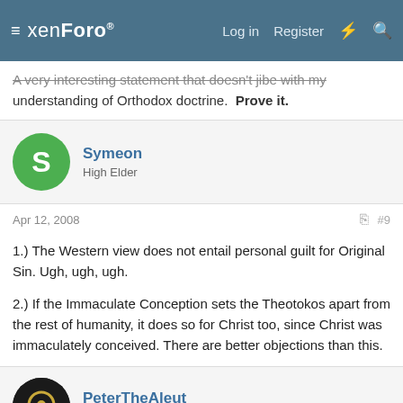xenForo — Log in | Register
A very interesting statement that doesn't jibe with my understanding of Orthodox doctrine. Prove it.
Symeon — High Elder
Apr 12, 2008 — #9
1.) The Western view does not entail personal guilt for Original Sin. Ugh, ugh, ugh.

2.) If the Immaculate Conception sets the Theotokos apart from the rest of humanity, it does so for Christ too, since Christ was immaculately conceived. There are better objections than this.
PeterTheAleut — Hypatos — Site Supporter